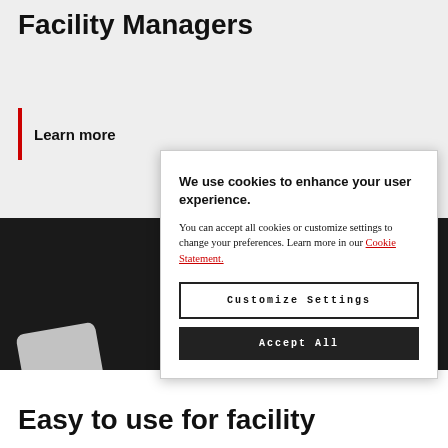Facility Managers
Learn more
[Figure (screenshot): Dark background image section showing a partial device/remote control on the left and a logo mark on the right]
We use cookies to enhance your user experience. You can accept all cookies or customize settings to change your preferences. Learn more in our Cookie Statement.
Customize Settings
Accept All
Easy to use for facility